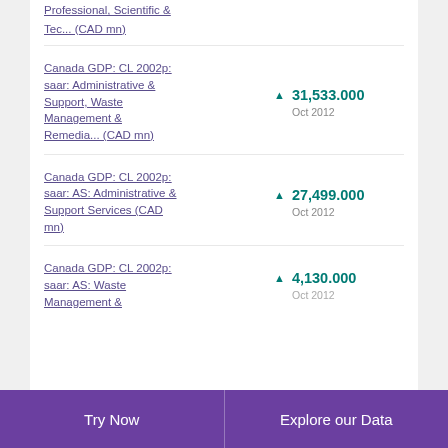Professional, Scientific & Tec... (CAD mn)
Canada GDP: CL 2002p: saar: Administrative & Support, Waste Management & Remedia... (CAD mn) ▲ 31,533.000 Oct 2012
Canada GDP: CL 2002p: saar: AS: Administrative & Support Services (CAD mn) ▲ 27,499.000 Oct 2012
Canada GDP: CL 2002p: saar: AS: Waste Management & ... ▲ 4,130.000 Oct 2012
Try Now  |  Explore our Data